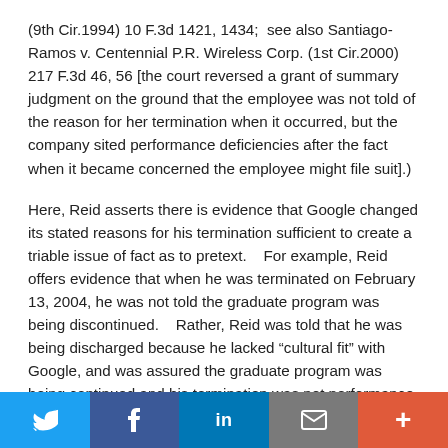(9th Cir.1994) 10 F.3d 1421, 1434;  see also Santiago-Ramos v. Centennial P.R. Wireless Corp. (1st Cir.2000) 217 F.3d 46, 56 [the court reversed a grant of summary judgment on the ground that the employee was not told of the reason for her termination when it occurred, but the company sited performance deficiencies after the fact when it became concerned the employee might file suit].)
Here, Reid asserts there is evidence that Google changed its stated reasons for his termination sufficient to create a triable issue of fact as to pretext.    For example, Reid offers evidence that when he was terminated on February 13, 2004, he was not told the graduate program was being discontinued.    Rather, Reid was told that he was being discharged because he lacked “cultural fit” with Google, and was assured the graduate program was being continued and his termination was not performance based.    Reid asserts
Twitter | Facebook | LinkedIn | Email | +